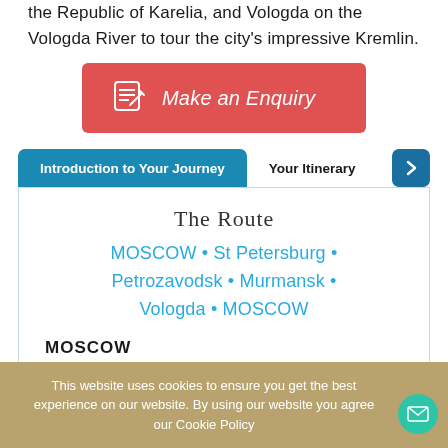the Republic of Karelia, and Vologda on the Vologda River to tour the city's impressive Kremlin.
[Figure (other): Red button with pencil/notepad icon and text 'Make an Enquiry']
Introduction to Your Journey
Your Itinerary
The Route
MOSCOW • St Petersburg • Petrozavodsk • Murmansk • Vologda • MOSCOW
MOSCOW
This website uses cookies to ensure you get the best experience on our website. By using our website you agree our Cookie Policy